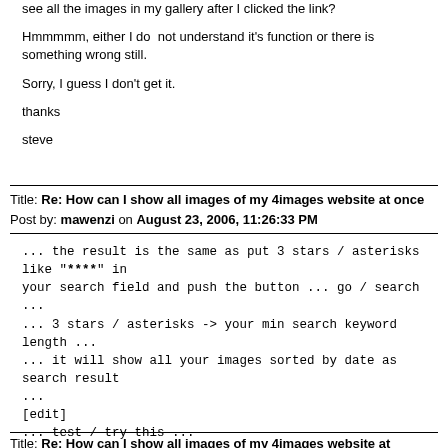see all the images in my gallery after I clicked the link?

Hmmmmm, either I do  not understand it's function or there is something wrong still.

Sorry, I guess I don't get it.

thanks

steve
Title: Re: How can I show all images of my 4images website at once
Post by: mawenzi on August 23, 2006, 11:26:33 PM
... the result is the same as put 3 stars / asterisks like "****" in your search field and push the button ... go / search ...
... 3 stars / asterisks -> your min search keyword length ...
... it will show all your images sorted by date as search result ...
[edit]
... test / try this ...
Quote from: V@no on August 07, 2006, 02:53:48 PM
http://example.com/4images/search.php?search_keywords=***
Title: Re: How can I show all images of my 4images website at